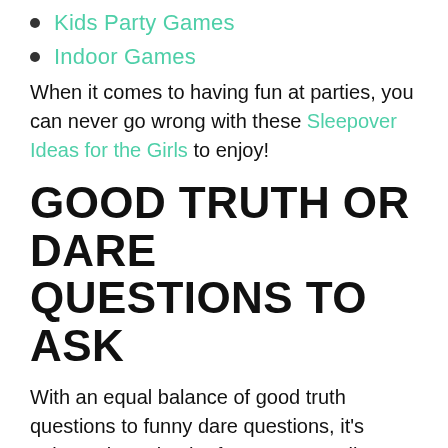Kids Party Games
Indoor Games
When it comes to having fun at parties, you can never go wrong with these Sleepover Ideas for the Girls to enjoy!
GOOD TRUTH OR DARE QUESTIONS TO ASK
With an equal balance of good truth questions to funny dare questions, it's going to be quite the fun game! You'll soon find out if you have a house full of daredevils or ones that prefer to sit and talk instead! See a sneak peek below at some of these good